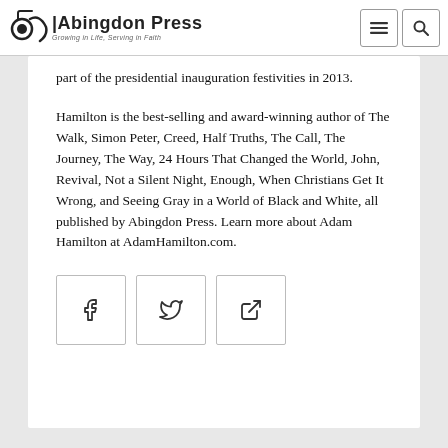Abingdon Press — Growing in Life, Serving in Faith
part of the presidential inauguration festivities in 2013.
Hamilton is the best-selling and award-winning author of The Walk, Simon Peter, Creed, Half Truths, The Call, The Journey, The Way, 24 Hours That Changed the World, John, Revival, Not a Silent Night, Enough, When Christians Get It Wrong, and Seeing Gray in a World of Black and White, all published by Abingdon Press. Learn more about Adam Hamilton at AdamHamilton.com.
[Figure (other): Social share buttons: Facebook, Twitter, and external link icons]